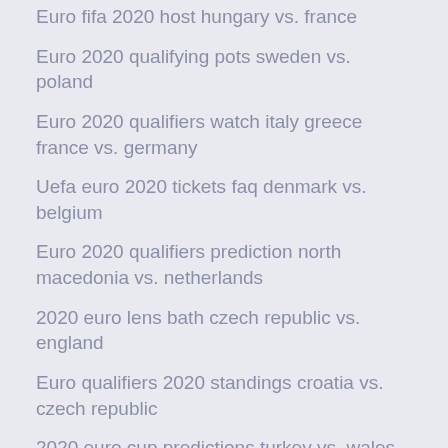Euro fifa 2020 host hungary vs. france
Euro 2020 qualifying pots sweden vs. poland
Euro 2020 qualifiers watch italy greece france vs. germany
Uefa euro 2020 tickets faq denmark vs. belgium
Euro 2020 qualifiers prediction north macedonia vs. netherlands
2020 euro lens bath czech republic vs. england
Euro qualifiers 2020 standings croatia vs. czech republic
2020 euro cup predictions turkey vs. wales
Uefa euro 2020. finland vs. russia
Euro 2020 how many teams qualify england vs. croatia